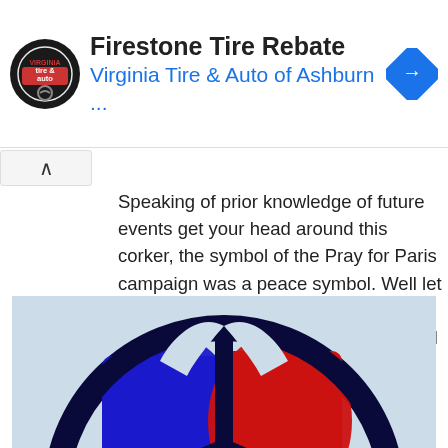[Figure (screenshot): Firestone Tire Rebate advertisement banner with Virginia Tire & Auto of Ashburn logo and navigation arrow icon]
Speaking of prior knowledge of future events get your head around this corker, the symbol of the Pray for Paris campaign was a peace symbol. Well let me tell you now it had nothing to do with peace, I see symbols and I go and find what they mean, not just me, there is thousands of us who do this , millions even, we have a thirst for knowledge and to uncover these secrets.
[Figure (photo): Peace symbol image with dark navy outline circle and vertical line, filled with blue on the left and red on the right, on a light blue background]